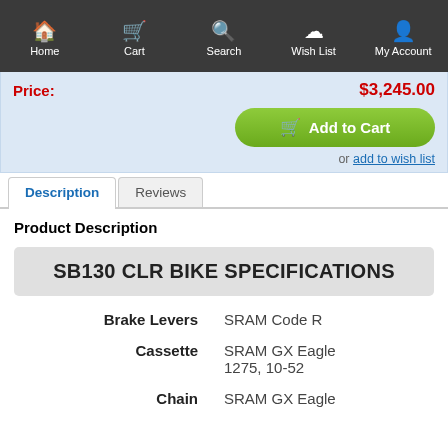Home  Cart  Search  Wish List  My Account
Price: $3,245.00
Add to Cart
or add to wish list
Description  Reviews
Product Description
SB130 CLR BIKE SPECIFICATIONS
| Spec | Value |
| --- | --- |
| Brake Levers | SRAM Code R |
| Cassette | SRAM GX Eagle 1275, 10-52 |
| Chain | SRAM GX Eagle |